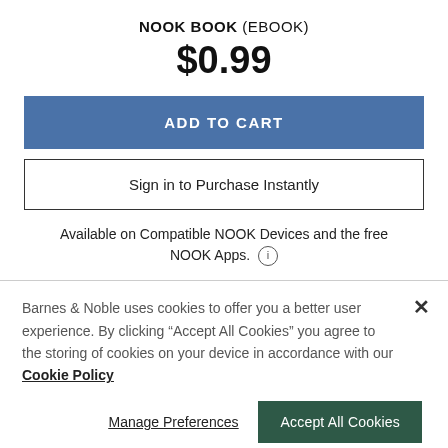NOOK BOOK (EBOOK)
$0.99
ADD TO CART
Sign in to Purchase Instantly
Available on Compatible NOOK Devices and the free NOOK Apps.
Barnes & Noble uses cookies to offer you a better user experience. By clicking "Accept All Cookies" you agree to the storing of cookies on your device in accordance with our Cookie Policy
Manage Preferences
Accept All Cookies